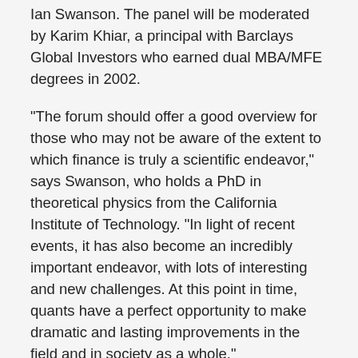Ian Swanson. The panel will be moderated by Karim Khiar, a principal with Barclays Global Investors who earned dual MBA/MFE degrees in 2002.
"The forum should offer a good overview for those who may not be aware of the extent to which finance is truly a scientific endeavor," says Swanson, who holds a PhD in theoretical physics from the California Institute of Technology. "In light of recent events, it has also become an incredibly important endeavor, with lots of interesting and new challenges. At this point in time, quants have a perfect opportunity to make dramatic and lasting improvements in the field and in society as a whole."
Visit the International Association of Financial Engineers website to register.
Posted in School News